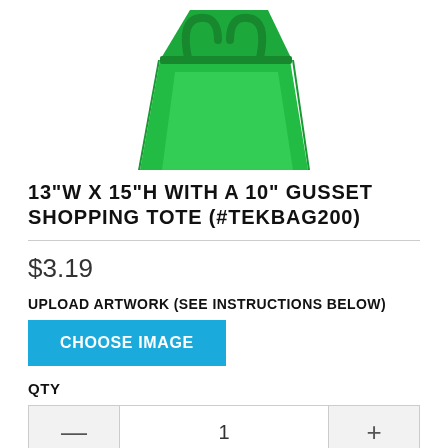[Figure (photo): Green shopping tote bag product photo, partially cropped at top]
13"W X 15"H WITH A 10" GUSSET SHOPPING TOTE (#TEKBAG200)
$3.19
UPLOAD ARTWORK (SEE INSTRUCTIONS BELOW)
CHOOSE IMAGE
QTY
1